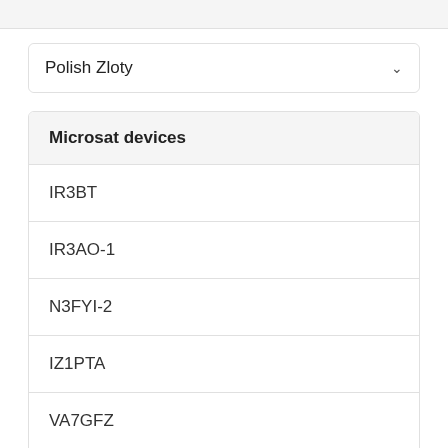[Figure (screenshot): Dropdown selector showing 'Polish Zloty' with chevron arrow]
Microsat devices
IR3BT
IR3AO-1
N3FYI-2
IZ1PTA
VA7GFZ
IK8SUT-2